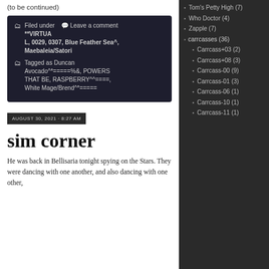(to be continued)
Filed under  Leave a comment **VIRTUAL, 0029, 0307, Blue Feather Sea^, Maebaleia/Satori
Tagged as Duncan Avocado^*=====%&, POWERS THAT BE, RASPBERRY^^====, White Mage/Brend^*=====
AUGUST 30, 2021 · 8:27 AM
sim corner
He was back in Bellisaria tonight spying on the Stars. They were dancing with one another, and also dancing with one other,
Tom's Petty High (7)
Who Doctor (4)
Zapple (7)
carrcasses (36)
Carrcass+03 (2)
Carrcass+08 (3)
Carrcass-00 (9)
Carrcass-01 (3)
Carrcass-06 (1)
Carrcass-10 (1)
Carrcass-11 (1)